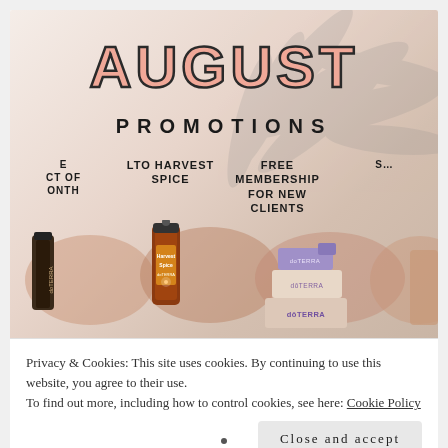[Figure (illustration): August Promotions banner showing: AUGUST in large pink outlined letters, PROMOTIONS subtitle, and product sections including LTO HARVEST SPICE essential oil bottle, FREE MEMBERSHIP FOR NEW CLIENTS with doTERRA boxes, and partially visible other sections. Background has palm leaf watermark and terracotta watercolor splashes.]
Privacy & Cookies: This site uses cookies. By continuing to use this website, you agree to their use.
To find out more, including how to control cookies, see here: Cookie Policy
Close and accept